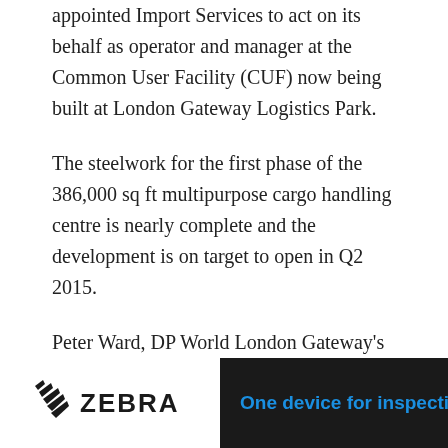appointed Import Services to act on its behalf as operator and manager at the Common User Facility (CUF) now being built at London Gateway Logistics Park.
The steelwork for the first phase of the 386,000 sq ft multipurpose cargo handling centre is nearly complete and the development is on target to open in Q2 2015.
Peter Ward, DP World London Gateway’s Head of Supply Chain, said, “We are delighted to be working with Import Services. The company has demonstrated a common vision and real understanding of our mission as the UK’s new deep-water national hub port and logistics park. We found the team to be tuned into our strategy and,
[Figure (logo): Zebra Technologies logo with zebra stripe icon and ZEBRA text in bold, on white background within a dark advertisement bar]
One device for inspecting and scan